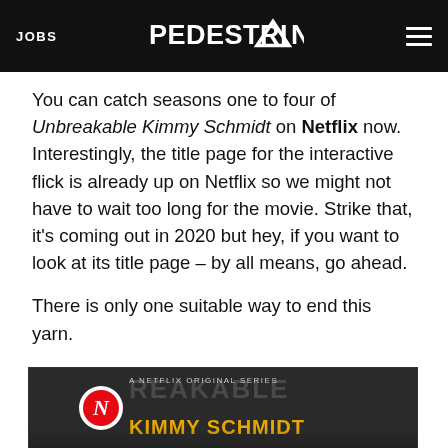JOBS | PEDESTRIAN | [menu]
You can catch seasons one to four of Unbreakable Kimmy Schmidt on Netflix now. Interestingly, the title page for the interactive flick is already up on Netflix so we might not have to wait too long for the movie. Strike that, it's coming out in 2020 but hey, if you want to look at its title page – by all means, go ahead.
There is only one suitable way to end this yarn.
[Figure (screenshot): Embedded YouTube video thumbnail showing Unbreakable Kimmy Schmidt Netflix trailer titled 'Unbreakable Kimmy Schmidt | Magi...' with Netflix logo, show title in yellow text, and a play button at the bottom.]